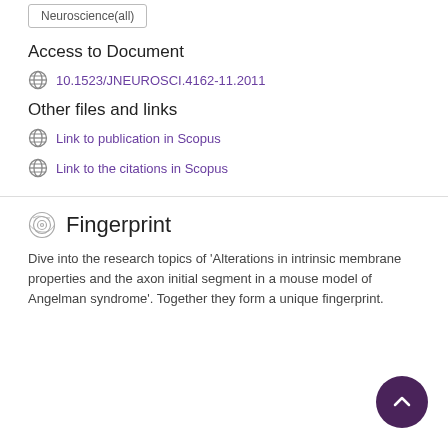Neuroscience(all)
Access to Document
10.1523/JNEUROSCI.4162-11.2011
Other files and links
Link to publication in Scopus
Link to the citations in Scopus
Fingerprint
Dive into the research topics of 'Alterations in intrinsic membrane properties and the axon initial segment in a mouse model of Angelman syndrome'. Together they form a unique fingerprint.